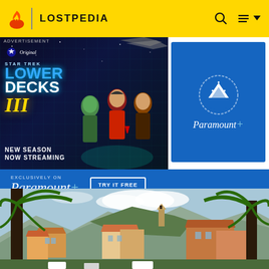LOSTPEDIA
[Figure (screenshot): Star Trek Lower Decks III advertisement - New Season Now Streaming, exclusively on Paramount+, with TRY IT FREE button. Right side shows Paramount+ logo on blue background. Below ad is Paramount+ bar with Try It Free button.]
[Figure (photo): Outdoor photo of a Mediterranean-style town with terracotta-roofed buildings, a hillside with a church tower, palm trees in foreground, mountains in background, and vehicles at the bottom.]